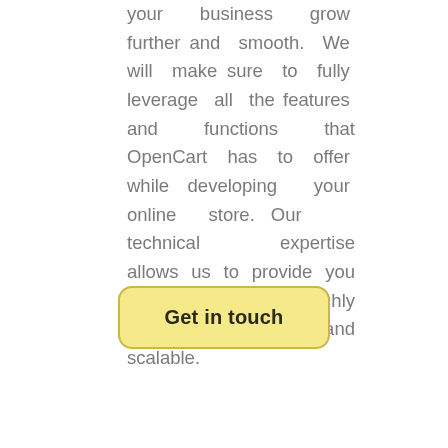your business grow further and smooth. We will make sure to fully leverage all the features and functions that OpenCart has to offer while developing your online store. Our technical expertise allows us to provide you solutions that are highly reliable, secure and scalable.
Get in touch